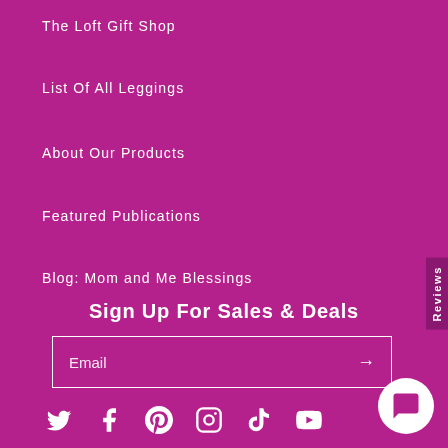The Loft Gift Shop
List Of All Leggings
About Our Products
Featured Publications
Blog: Mom and Me Blessings
Reviews
Sign Up For Sales & Deals
Email
[Figure (other): Social media icons: Twitter, Facebook, Pinterest, Instagram, TikTok, YouTube and a chat bubble icon]